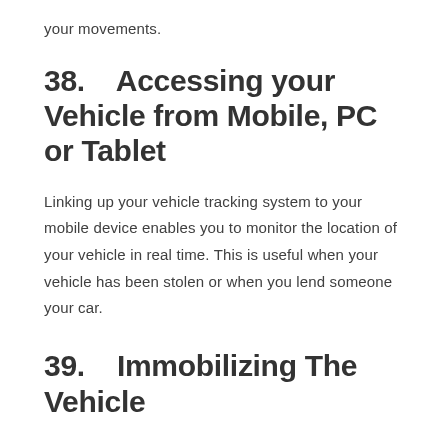your movements.
38.    Accessing your Vehicle from Mobile, PC or Tablet
Linking up your vehicle tracking system to your mobile device enables you to monitor the location of your vehicle in real time. This is useful when your vehicle has been stolen or when you lend someone your car.
39.    Immobilizing The Vehicle